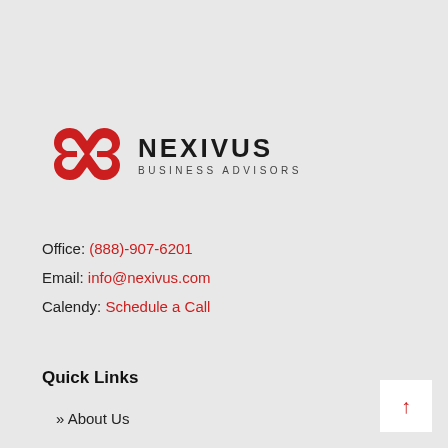[Figure (logo): Nexivus Business Advisors logo with red interlocking knot icon and dark text]
Office: (888)-907-6201
Email: info@nexivus.com
Calendly: Schedule a Call
Quick Links
» About Us